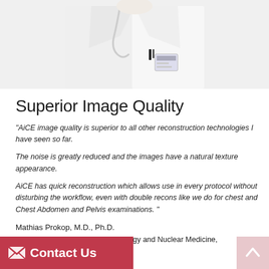[Figure (photo): Doctor in white lab coat with stethoscope and ID badge, cropped to torso/upper body, centered on page]
Superior Image Quality
"AiCE image quality is superior to all other reconstruction technologies I have seen so far.

The noise is greatly reduced and the images have a natural texture appearance.

AiCE has quick reconstruction which allows use in every protocol without disturbing the workflow, even with double recons like we do for chest and Chest Abdomen and Pelvis examinations. "
Mathias Prokop, M.D., Ph.D.
Professor and Chairman of Radiology and Nuclear Medicine,
Contact Us